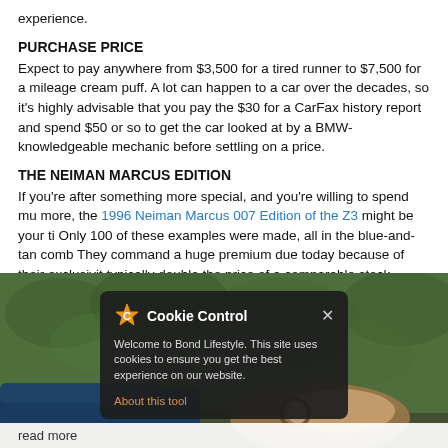experience.
PURCHASE PRICE
Expect to pay anywhere from $3,500 for a tired runner to $7,500 for a mileage cream puff. A lot can happen to a car over the decades, so it's highly advisable that you pay the $30 for a CarFax history report and spend $50 or so to get the car looked at by a BMW-knowledgeable mechanic before settling on a price.
THE NEIMAN MARCUS EDITION
If you're after something more special, and you're willing to spend much more, the 1996 Neiman Marcus 007 Edition of the Z3 might be your ticket. Only 100 of these examples were made, all in the blue-and-tan combo. They command a huge premium due today because of their exclusivity, typically double the price of a comparable stock example.
[Figure (photo): Photo of a BMW Z3 convertible parked in front of green hedges, with a Cookie Control overlay popup in the foreground, and a 'read more' bar at the bottom.]